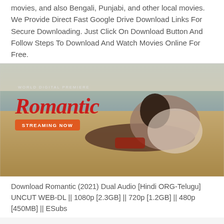movies, and also Bengali, Punjabi, and other local movies. We Provide Direct Fast Google Drive Download Links For Secure Downloading. Just Click On Download Button And Follow Steps To Download And Watch Movies Online For Free.
[Figure (photo): Movie promotional poster for 'Romantic' showing a couple lying on a beach. Text reads 'WORLD DIGITAL PREMIERE' and 'ROMANTIC' in red stylized font, with an orange 'STREAMING NOW' button.]
Download Romantic (2021) Dual Audio [Hindi ORG-Telugu] UNCUT WEB-DL || 1080p [2.3GB] || 720p [1.2GB] || 480p [450MB] || ESubs